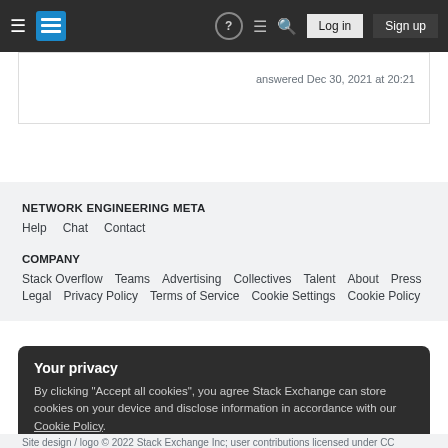≡ [Stack Exchange Logo] ? ≡ 🔍 Log in  Sign up
answered Dec 30, 2021 at 20:21
NETWORK ENGINEERING META
Help  Chat  Contact
COMPANY
Stack Overflow  Teams  Advertising  Collectives  Talent  About  Press
Legal  Privacy Policy  Terms of Service  Cookie Settings  Cookie Policy
Your privacy
By clicking "Accept all cookies", you agree Stack Exchange can store cookies on your device and disclose information in accordance with our Cookie Policy.
Accept all cookies  Customize settings
Site design / logo © 2022 Stack Exchange Inc; user contributions licensed under CC